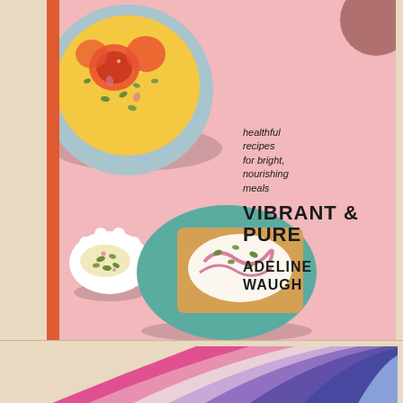[Figure (photo): Book cover of 'Vibrant & Pure' by Adeline Waugh showing food photography on a pink background — a bowl with blood oranges and pistachios, a small white dish with toppings, and a plate with toast/spread. The cover includes subtitle text 'healthful recipes for bright, nourishing meals'. The book has an orange spine. Background is warm cream/tan.]
[Figure (photo): Partial view of a second image at the bottom of the page showing colorful abstract layered curved shapes in shades of pink, lavender, purple, and blue.]